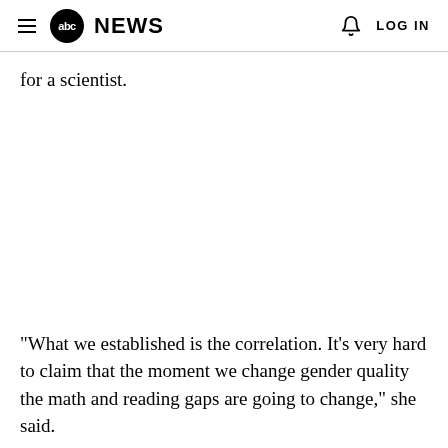abc NEWS  LOG IN
for a scientist.
"What we established is the correlation. It's very hard to claim that the moment we change gender quality the math and reading gaps are going to change," she said.